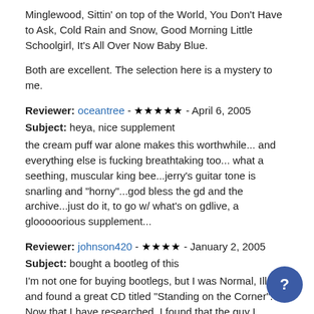Minglewood, Sittin' on top of the World, You Don't Have to Ask, Cold Rain and Snow, Good Morning Little Schoolgirl, It's All Over Now Baby Blue.
Both are excellent. The selection here is a mystery to me.
Reviewer: oceantree - ★★★★★ - April 6, 2005
Subject: heya, nice supplement
the cream puff war alone makes this worthwhile... and everything else is fucking breathtaking too... what a seething, muscular king bee...jerry's guitar tone is snarling and "horny"...god bless the gd and the archive...just do it, to go w/ what's on gdlive, a glooooorious supplement...
Reviewer: johnson420 - ★★★★ - January 2, 2005
Subject: bought a bootleg of this
I'm not one for buying bootlegs, but I was Normal, Ill. and found a great CD titled "Standing on the Corner". Now that I have researched, I found that the guy I bought it from had put this show and the show on 7.16.66 together as one show,(and told me it was from the Avalon ballroom, too) both are great shows and a must for any dead fan. I will try to submit the